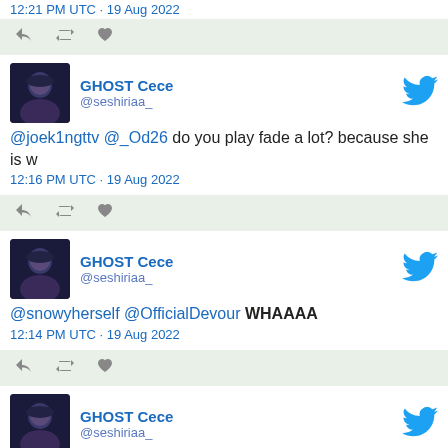12:21 PM UTC · 19 Aug 2022
[Figure (screenshot): Tweet action bar with reply, retweet, and heart icons on light green background]
GHOST Cece @seshiriaa_ @joek1ngttv @_Od26 do you play fade a lot? because she is w 12:16 PM UTC · 19 Aug 2022
[Figure (screenshot): Tweet action bar with reply, retweet, and heart icons on light green background]
GHOST Cece @seshiriaa_ @snowyherself @OfficialDevour WHAAAA 12:14 PM UTC · 19 Aug 2022
[Figure (screenshot): Tweet action bar with reply, retweet, and heart icons on light green background]
GHOST Cece @seshiriaa_ @dawnmoer Cant wait to see you take another hour to screw a single screw in LOL 5:44 AM UTC · 19 Aug 2022